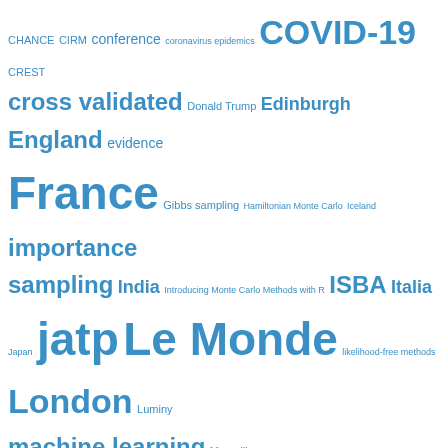[Figure (other): Tag cloud of blog/statistics-related terms in various font sizes, all in blue, on white background. Larger terms appear more frequently. Terms include COVID-19, Monte Carlo Statistical Methods, mathematical puzzle, MCMC, simulation, sunrise sunset, France, Le Monde, jatp, Paris R, cross validated, ISBA, Scotland, The New York Times, The Riddler, and many others.]